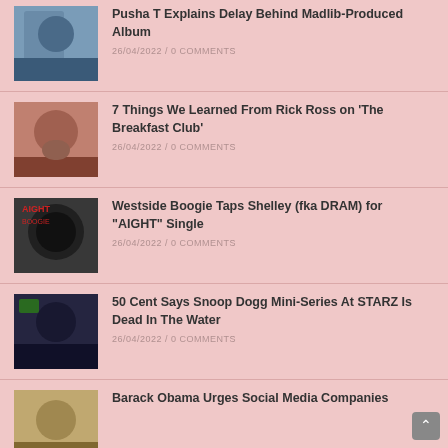Pusha T Explains Delay Behind Madlib-Produced Album | 26/04/2022 / 0 COMMENTS
7 Things We Learned From Rick Ross on 'The Breakfast Club' | 26/04/2022 / 0 COMMENTS
Westside Boogie Taps Shelley (fka DRAM) for "AIGHT" Single | 26/04/2022 / 0 COMMENTS
50 Cent Says Snoop Dogg Mini-Series At STARZ Is Dead In The Water | 26/04/2022 / 0 COMMENTS
Barack Obama Urges Social Media Companies